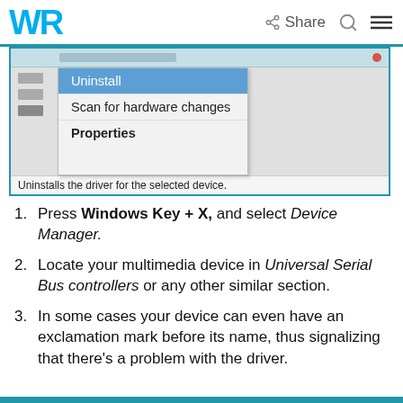WR | Share
[Figure (screenshot): Windows Device Manager context menu showing options: Uninstall (highlighted in blue), Scan for hardware changes, Properties. Status bar reads: Uninstalls the driver for the selected device.]
Press Windows Key + X, and select Device Manager.
Locate your multimedia device in Universal Serial Bus controllers or any other similar section.
In some cases your device can even have an exclamation mark before its name, thus signalizing that there's a problem with the driver.